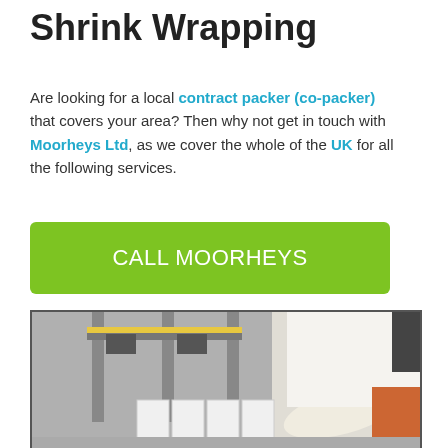Shrink Wrapping
Are looking for a local contract packer (co-packer) that covers your area? Then why not get in touch with Moorheys Ltd, as we cover the whole of the UK for all the following services.
[Figure (other): Green call-to-action button with white text reading CALL MOORHEYS]
[Figure (photo): Photo of a person operating shrink wrapping machinery with boxes, with an inset photo showing the ADPAK branded machine and a Moorheys Ltd Specialist Contract Packing logo overlay in the bottom right corner.]